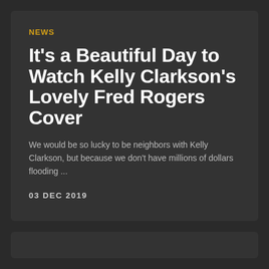NEWS
It's a Beautiful Day to Watch Kelly Clarkson's Lovely Fred Rogers Cover
We would be so lucky to be neighbors with Kelly Clarkson, but because we don't have millions of dollars flooding ...
03 DEC 2019